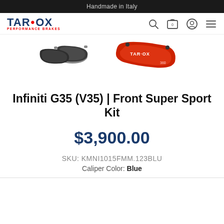Handmade in Italy
[Figure (logo): TAR-OX Performance Brakes logo in dark blue with red dot and red subtitle text]
[Figure (photo): Brake pads (dark grey, set of 4) and a red TAR-OX brake caliper product images side by side]
Infiniti G35 (V35) | Front Super Sport Kit
$3,900.00
SKU: KMNI1015FMM.123BLU
Caliper Color: Blue